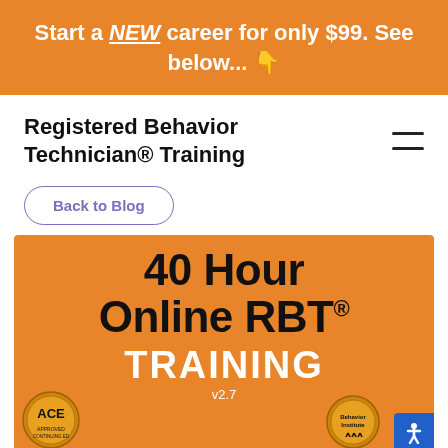Start a NEW career for only $99. See below... 👇
Registered Behavior Technician® Training
Back to Blog
[Figure (infographic): Orange promotional banner reading '40 Hour Online RBT® TRAINING v2.7' with ACE certification badge on the left and another badge on the right, on an orange background.]